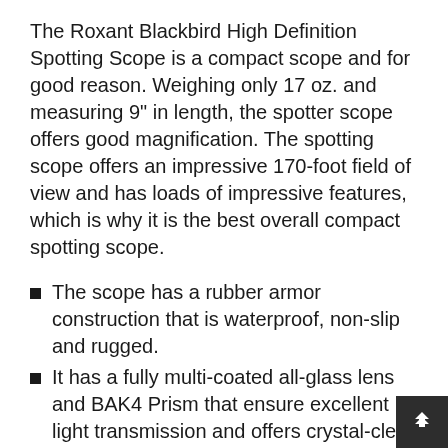The Roxant Blackbird High Definition Spotting Scope is a compact scope and for good reason. Weighing only 17 oz. and measuring 9" in length, the spotter scope offers good magnification. The spotting scope offers an impressive 170-foot field of view and has loads of impressive features, which is why it is the best overall compact spotting scope.
The scope has a rubber armor construction that is waterproof, non-slip and rugged.
It has a fully multi-coated all-glass lens and BAK4 Prism that ensure excellent light transmission and offers crystal-clear viewing.
The scope features a...